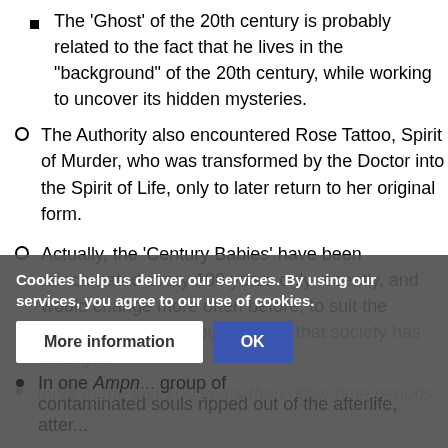The 'Ghost' of the 20th century is probably related to the fact that he lives in the "background" of the 20th century, while working to uncover its hidden mysteries.
The Authority also encountered Rose Tattoo, Spirit of Murder, who was transformed by the Doctor into the Spirit of Life, only to later return to her original form.
Actually, the 'Century Babies' have been reincarnated every 100 years only recently, and would change more often before, to suit the change in times. Though, given that society has changed more in the last 100 years than other time periods
In one Ampn... group of contaminated souls ripped out of the afterlife, atter...